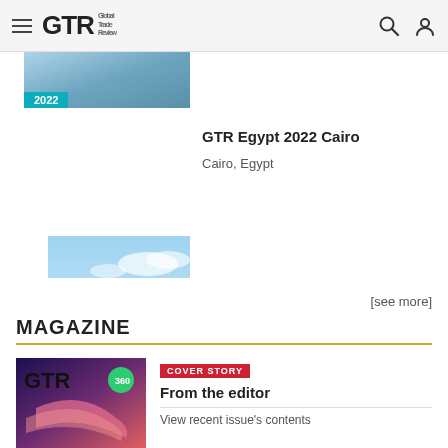GTR Global Trade Review
[Figure (photo): Partially visible event image with 2022 teal badge at bottom left]
[Figure (photo): Aerial cityscape photo of Cairo Egypt showing the Nile river with date badge: Oct 20 2022]
GTR Egypt 2022 Cairo
Cairo, Egypt
[see more]
MAGAZINE
[Figure (photo): GTR magazine cover with dark purple/pink gradient background, woman figure, GTR logo, and circular emblem]
COVER STORY
From the editor
View recent issue's contents